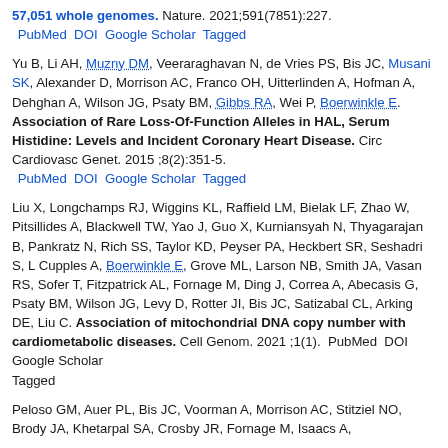57,051 whole genomes. Nature. 2021;591(7851):227.
 PubMed  DOI  Google Scholar  Tagged
Yu B, Li AH, Muzny DM, Veeraraghavan N, de Vries PS, Bis JC, Musani SK, Alexander D, Morrison AC, Franco OH, Uitterlinden A, Hofman A, Dehghan A, Wilson JG, Psaty BM, Gibbs RA, Wei P, Boerwinkle E. Association of Rare Loss-Of-Function Alleles in HAL, Serum Histidine: Levels and Incident Coronary Heart Disease. Circ Cardiovasc Genet. 2015 ;8(2):351-5.
 PubMed  DOI  Google Scholar  Tagged
Liu X, Longchamps RJ, Wiggins KL, Raffield LM, Bielak LF, Zhao W, Pitsillides A, Blackwell TW, Yao J, Guo X, Kurniansyah N, Thyagarajan B, Pankratz N, Rich SS, Taylor KD, Peyser PA, Heckbert SR, Seshadri S, L Cupples A, Boerwinkle E, Grove ML, Larson NB, Smith JA, Vasan RS, Sofer T, Fitzpatrick AL, Fornage M, Ding J, Correa A, Abecasis G, Psaty BM, Wilson JG, Levy D, Rotter JI, Bis JC, Satizabal CL, Arking DE, Liu C. Association of mitochondrial DNA copy number with cardiometabolic diseases. Cell Genom. 2021 ;1(1).  PubMed  DOI  Google Scholar  Tagged
Peloso GM, Auer PL, Bis JC, Voorman A, Morrison AC, Stitziel NO, Brody JA, Khetarpal SA, Crosby JR, Fornage M, Isaacs A,